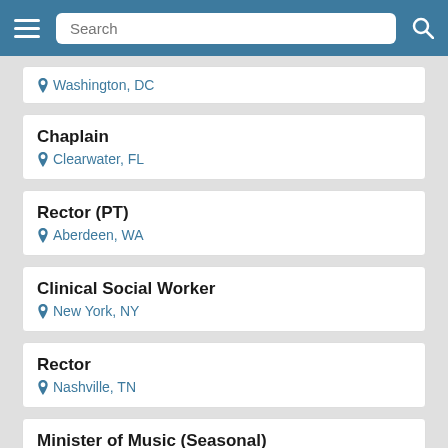Search
Washington, DC
Chaplain
Clearwater, FL
Rector (PT)
Aberdeen, WA
Clinical Social Worker
New York, NY
Rector
Nashville, TN
Minister of Music (Seasonal)
Sanibel, FL
Rector